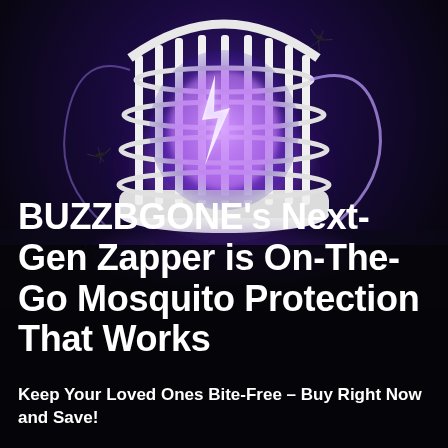[Figure (photo): Close-up photo of a mosquito zapper device with glowing purple/blue electric light and lightning bolt effect inside a white cage-shaped lamp, set against a dark background with mosquitoes visible around it.]
BUZZBGONE's Next-Gen Zapper is On-The-Go Mosquito Protection That Works
Keep Your Loved Ones Bite-Free – Buy Right Now and Save!